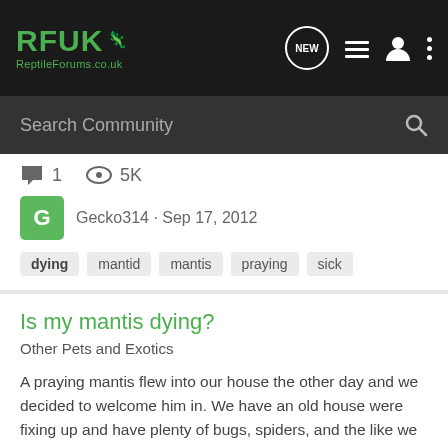[Figure (logo): RFUK ReptileForums.co.uk logo with navigation icons (NEW bubble, list, user, dots) on dark background]
[Figure (screenshot): Search Community input bar with magnifying glass icon on dark grey background]
1   5K
Gecko314 · Sep 17, 2012
dying   mantid   mantis   praying   sick
Is my mantis dying?
Other Pets and Exotics
A praying mantis flew into our house the other day and we decided to welcome him in. We have an old house were fixing up and have plenty of bugs, spiders, and the like we thought he might enjoy. I left the door open for him to fly out if he was able to find it but he stuck around. We've found...
1   593
Gecko314 · Sep 17, 2012